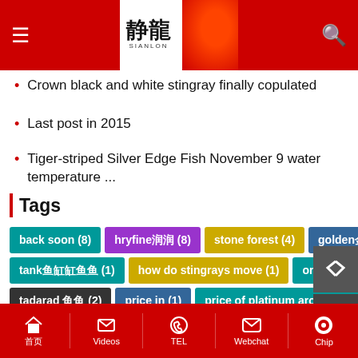Sianlon - header with logo and navigation
Crown black and white stingray finally copulated
Last post in 2015
Tiger-striped Silver Edge Fish November 9 water temperature ...
Tags
back soon (8), hryfine润润 (8), stone forest (4), golden金龙鱼金龙 (1), tank鱼缸缸鱼鱼 (1), how do stingrays move (1), oranger橙色橙 (5), tadarad 鱼鱼 (2), price in (1), price of platinum arowana (1), fish farming issues (1), klse listed company (1), queens blade (6), government (1), aquariums uk (1), congo river fish (1), bat蝙蝠蝙蝠蝙 (6), stomach胃胃胃胃 (1), nad鱼鱼 c326 bee (2), datnoid care (1), agulia (1)
首页  Videos  TEL  Webchat  Chip